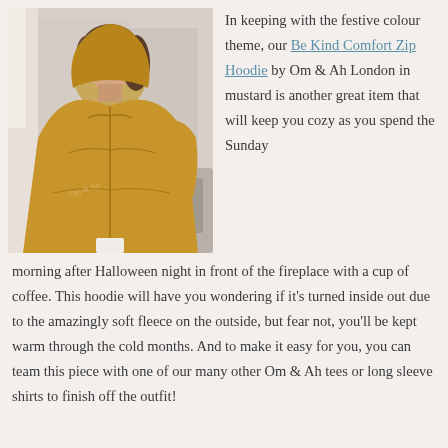[Figure (photo): A woman wearing a mustard yellow zip hoodie with a hood, photographed in a bright interior setting with soft furnishings in the background.]
In keeping with the festive colour theme, our Be Kind Comfort Zip Hoodie by Om & Ah London in mustard is another great item that will keep you cozy as you spend the Sunday morning after Halloween night in front of the fireplace with a cup of coffee. This hoodie will have you wondering if it's turned inside out due to the amazingly soft fleece on the outside, but fear not, you'll be kept warm through the cold months. And to make it easy for you, you can team this piece with one of our many other Om & Ah tees or long sleeve shirts to finish off the outfit!